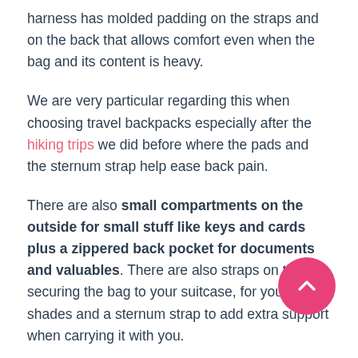harness has molded padding on the straps and on the back that allows comfort even when the bag and its content is heavy.
We are very particular regarding this when choosing travel backpacks especially after the hiking trips we did before where the pads and the sternum strap help ease back pain.
There are also small compartments on the outside for small stuff like keys and cards plus a zippered back pocket for documents and valuables. There are also straps on the for securing the bag to your suitcase, for your shades and a sternum strap to add extra support when carrying it with you.
The external USB charging port is also very handy